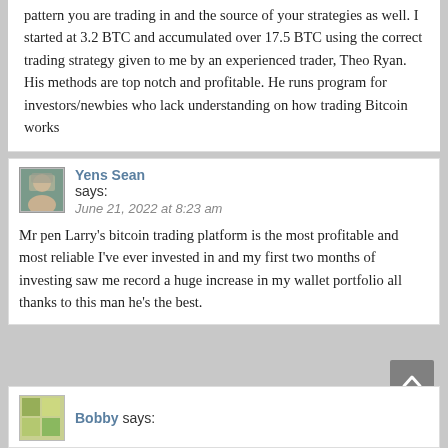pattern you are trading in and the source of your strategies as well. I started at 3.2 BTC and accumulated over 17.5 BTC using the correct trading strategy given to me by an experienced trader, Theo Ryan. His methods are top notch and profitable. He runs program for investors/newbies who lack understanding on how trading Bitcoin works
Yens Sean says: June 21, 2022 at 8:23 am
Mr pen Larry's bitcoin trading platform is the most profitable and most reliable I've ever invested in and my first two months of investing saw me record a huge increase in my wallet portfolio all thanks to this man he's the best.
Bobby says: